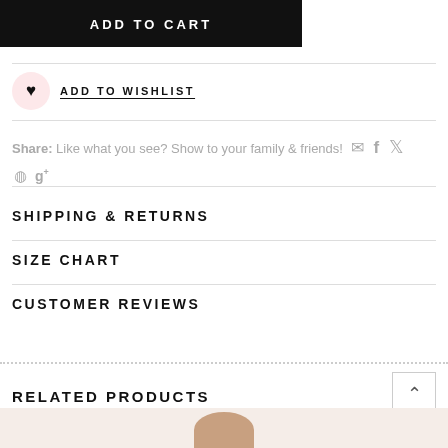ADD TO CART
ADD TO WISHLIST
Share: Like what you see? Show to your family & friends!
SHIPPING & RETURNS
SIZE CHART
CUSTOMER REVIEWS
RELATED PRODUCTS
[Figure (photo): Bottom partial product photo]